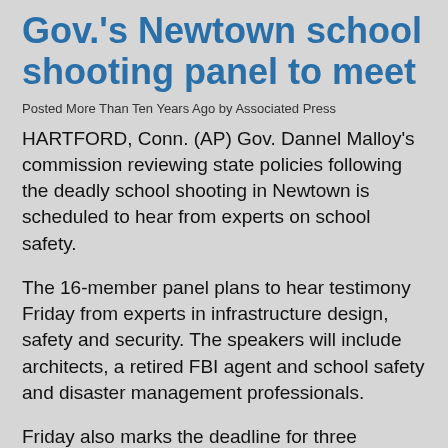Gov.'s Newtown school shooting panel to meet
Posted More Than Ten Years Ago by Associated Press
HARTFORD, Conn. (AP) Gov. Dannel Malloy's commission reviewing state policies following the deadly school shooting in Newtown is scheduled to hear from experts on school safety.
The 16-member panel plans to hear testimony Friday from experts in infrastructure design, safety and security. The speakers will include architects, a retired FBI agent and school safety and disaster management professionals.
Friday also marks the deadline for three legislative subcommittees on gun violence, mental health and school security to submit recommendations for possible legislation to legislative leaders. Lawmakers